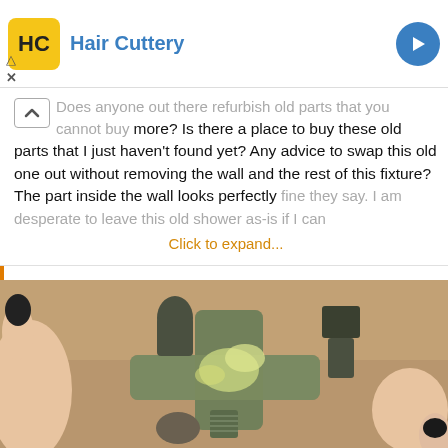[Figure (screenshot): Hair Cuttery advertisement banner with yellow logo and blue brand name, with navigation controls (triangle/X icons)]
Does anyone out there refurbish old parts that you cannot buy anymore? Is there a place to buy these old parts that I just haven't found yet? Any advice to swap this old one out without removing the wall and the rest of this fixture? The part inside the wall looks perfectly fine they say. I am desperate to leave this old shower as-is if I can Click to expand...
[Figure (photo): A hand with black painted nails holding a heavily corroded and minerally-encrusted old shower valve or plumbing fixture with multiple stems and a cross-shaped body, showing significant green/white mineral buildup.]